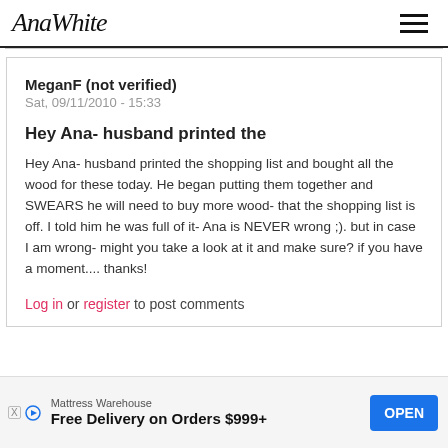AnaWhite
MeganF (not verified)
Sat, 09/11/2010 - 15:33
Hey Ana- husband printed the
Hey Ana- husband printed the shopping list and bought all the wood for these today. He began putting them together and SWEARS he will need to buy more wood- that the shopping list is off. I told him he was full of it- Ana is NEVER wrong ;). but in case I am wrong- might you take a look at it and make sure? if you have a moment.... thanks!
Log in or register to post comments
Mattress Warehouse
Free Delivery on Orders $999+
OPEN